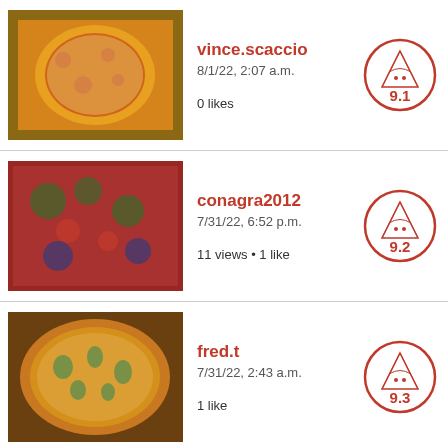vince.scaccio
8/1/22, 2:07 a.m.
0 likes
Score: 9.1
conagra2012
7/31/22, 6:52 p.m.
11 views • 1 like
Score: 9.2
fred.t
7/31/22, 2:43 a.m.
1 like
Score: 9.3
wayne.couts
7/30/22, 7:57 p.m.
1 like
Score: 8.1
kara.m
7/24/22, 6:02 p.m.